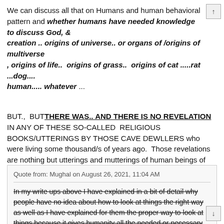We can discuss all that on Humans and human behavioral pattern and whether humans have needed knowledge to discuss God, & creation .. origins of universe.. or organs of /origins of multiverse , origins of life.. origins of grass.. origins of cat .....rat ...dog.... human..... whatever ...
BUT., BUT THERE WAS.. AND THERE IS NO REVELATION IN ANY OF THESE SO-CALLED RELIGIOUS BOOKS/UTTERINGS BY THOSE CAVE DEWLLERS who were living some thousand/s of years ago. Those revelations are nothing but utterings and mutterings of human beings of their time.. albeit they were fairly intelligent people of their times.
Quote from: Mughal on August 26, 2021, 11:04 AM
In my write ups above I have explained in a bit of detail why people have no idea about how to look at things the right way as well as I have explained for them the proper way to look at things because it gives humanity all the needed or necessary or possible advantages.
1) I have explained what is direct learning method which none can dispute.